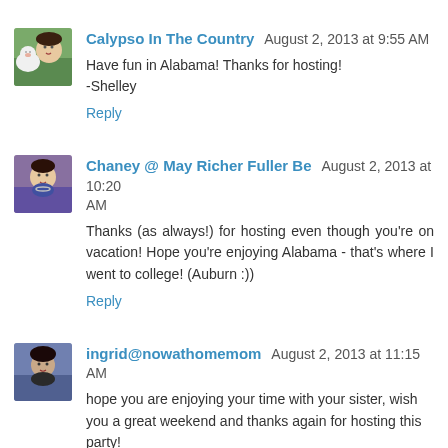Calypso In The Country  August 2, 2013 at 9:55 AM
Have fun in Alabama! Thanks for hosting!
-Shelley
Reply
Chaney @ May Richer Fuller Be  August 2, 2013 at 10:20 AM
Thanks (as always!) for hosting even though you're on vacation! Hope you're enjoying Alabama - that's where I went to college! (Auburn :))
Reply
ingrid@nowathomemom  August 2, 2013 at 11:15 AM
hope you are enjoying your time with your sister, wish you a great weekend and thanks again for hosting this party!
Ingrid